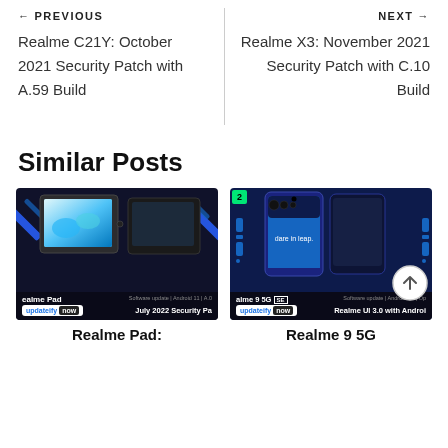← PREVIOUS
Realme C21Y: October 2021 Security Patch with A.59 Build
NEXT →
Realme X3: November 2021 Security Patch with C.10 Build
Similar Posts
[Figure (photo): Realme Pad tablet software update image showing July 2022 Security Patch with updateify now badge]
Realme Pad:
[Figure (photo): Realme 9 5G SE phone software update image showing Realme UI 3.0 with Android update and updateify now badge]
Realme 9 5G